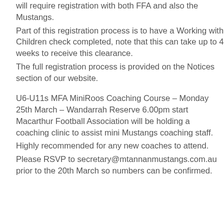will require registration with both FFA and also the Mustangs.
Part of this registration process is to have a Working with Children check completed, note that this can take up to 4 weeks to receive this clearance.
The full registration process is provided on the Notices section of our website.
U6-U11s MFA MiniRoos Coaching Course – Monday 25th March – Wandarrah Reserve 6.00pm start Macarthur Football Association will be holding a coaching clinic to assist mini Mustangs coaching staff.
Highly recommended for any new coaches to attend.
Please RSVP to secretary@mtannanmustangs.com.au prior to the 20th March so numbers can be confirmed.